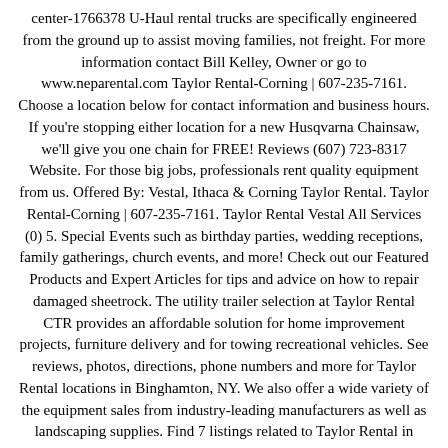center-1766378 U-Haul rental trucks are specifically engineered from the ground up to assist moving families, not freight. For more information contact Bill Kelley, Owner or go to www.neparental.com Taylor Rental-Corning | 607-235-7161. Choose a location below for contact information and business hours. If you're stopping either location for a new Husqvarna Chainsaw, we'll give you one chain for FREE! Reviews (607) 723-8317 Website. For those big jobs, professionals rent quality equipment from us. Offered By: Vestal, Ithaca & Corning Taylor Rental. Taylor Rental-Corning | 607-235-7161. Taylor Rental Vestal All Services (0) 5. Special Events such as birthday parties, wedding receptions, family gatherings, church events, and more! Check out our Featured Products and Expert Articles for tips and advice on how to repair damaged sheetrock. The utility trailer selection at Taylor Rental CTR provides an affordable solution for home improvement projects, furniture delivery and for towing recreational vehicles. See reviews, photos, directions, phone numbers and more for Taylor Rental locations in Binghamton, NY. We also offer a wide variety of the equipment sales from industry-leading manufacturers as well as landscaping supplies. Find 7 listings related to Taylor Rental in South Montrose on YP.com. Not valid with any other discounts or sales. Taylor True Value Rental is a Clothing in Vestal. Customer Reviews for . $6.95), Free Chain with any Husqvarna Chainsaw Purchase. We started in the rental business in 1984 with our Vestal location and expanded to the